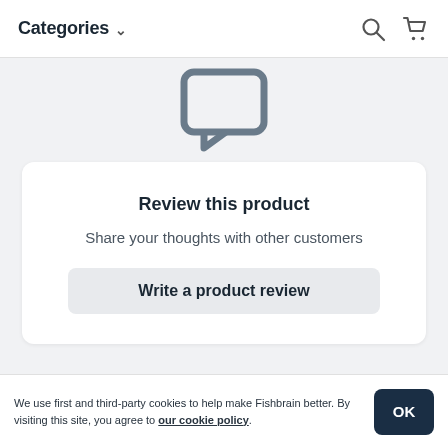Categories
[Figure (illustration): Chat bubble icon in gray, representing no reviews yet]
No reviews yet
Review this product
Share your thoughts with other customers
Write a product review
We use first and third-party cookies to help make Fishbrain better. By visiting this site, you agree to our cookie policy.